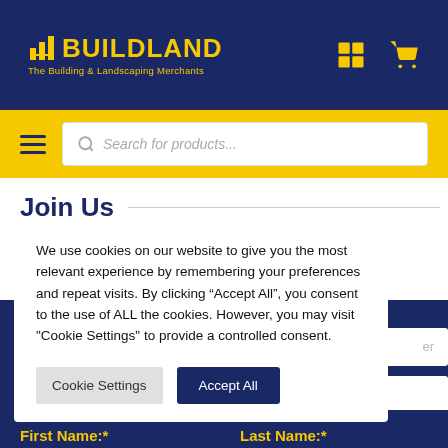[Figure (logo): Buildland logo with building icon and tagline 'The Building & Landscaping Merchants' on dark navy background with calculator and cart icons]
Search for products...
Join Us
our application ve can.
We use cookies on our website to give you the most relevant experience by remembering your preferences and repeat visits. By clicking “Accept All”, you consent to the use of ALL the cookies. However, you may visit "Cookie Settings" to provide a controlled consent.
Cookie Settings
Accept All
First Name:*
Last Name:*